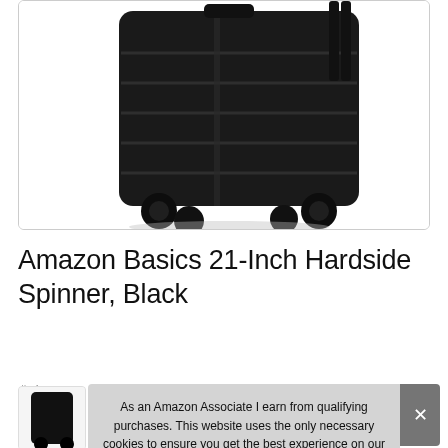[Figure (photo): Black AmazonBasics 21-inch hardside spinner luggage with spinner wheels, shown at an angle on white background inside a rounded rectangle border]
Amazon Basics 21-Inch Hardside Spinner, Black
#ad
[Figure (photo): Row of small thumbnail images of the luggage in various angles, partially visible at the bottom of the page]
As an Amazon Associate I earn from qualifying purchases. This website uses the only necessary cookies to ensure you get the best experience on our website. More information